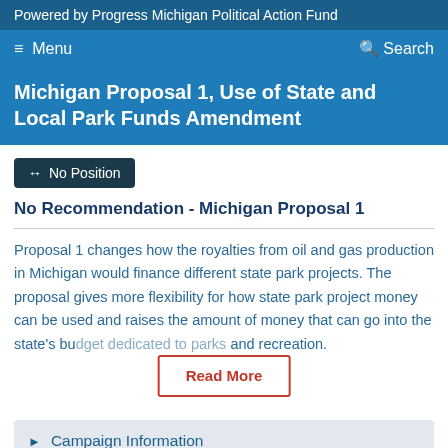Powered by Progress Michigan Political Action Fund
Menu  Search
Michigan Proposal 1, Use of State and Local Park Funds Amendment
↔ No Position
No Recommendation - Michigan Proposal 1
Proposal 1 changes how the royalties from oil and gas production in Michigan would finance different state park projects. The proposal gives more flexibility for how state park project money can be used and raises the amount of money that can go into the state's bu... and recreation.
Read More
▶ Campaign Information